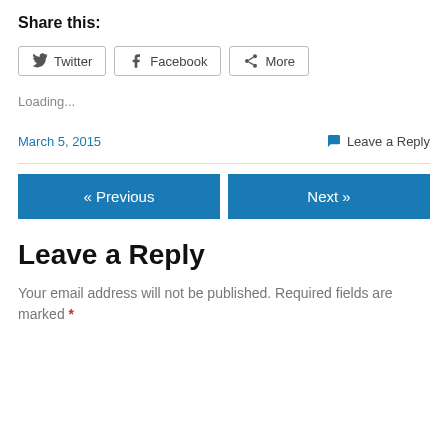Share this:
Twitter  Facebook  More
Loading...
March 5, 2015
Leave a Reply
« Previous
Next »
Leave a Reply
Your email address will not be published. Required fields are marked *